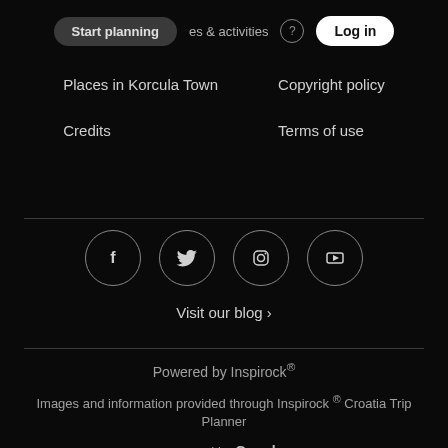Start planning  es & activities  Log in
Places in Korcula Town
Credits
Copyright policy
Terms of use
[Figure (infographic): Four social media icons in circles: Facebook (f), Twitter (bird), Instagram (camera), YouTube (play button)]
Visit our blog ›
Powered by Inspirock®
Images and information provided through Inspirock ® Croatia Trip Planner
powered by Google